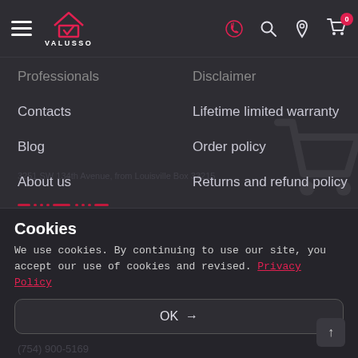[Figure (logo): Valusso logo: house outline with checkmark, text VALUSSO below]
Professionals
Disclaimer
Contacts
Lifetime limited warranty
Blog
Order policy
About us
Returns and refund policy
Reviews
Shipping Policy
Terms and condition
Cookies
We use cookies. By continuing to use our site, you accept our use of cookies and revised. Privacy Policy